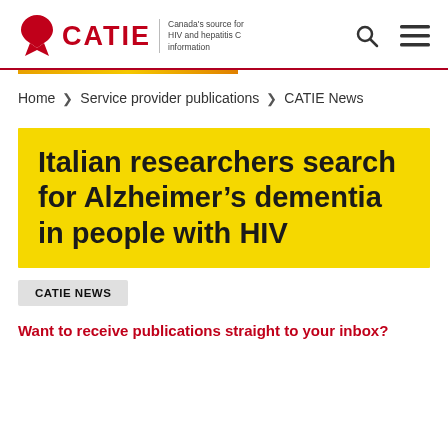CATIE — Canada's source for HIV and hepatitis C information
Home > Service provider publications > CATIE News
Italian researchers search for Alzheimer's dementia in people with HIV
CATIE NEWS
Want to receive publications straight to your inbox?